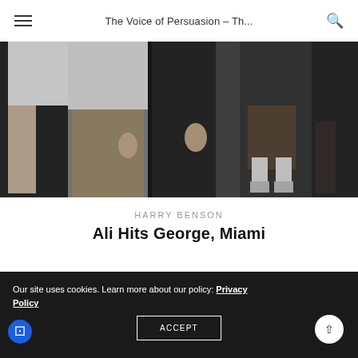The Voice of Persuasion – Th...
[Figure (photo): Black and white photograph showing several people standing, cropped at torso/legs level. Includes a person in a white shirt, someone in khaki pants, and a figure in shorts with white socks and athletic shoes.]
HARRY BENSON
Ali Hits George, Miami
[Figure (photo): Black and white photograph, partially visible, dark tones with some lighter areas.]
Our site uses cookies. Learn more about our policy: Privacy Policy
ACCEPT